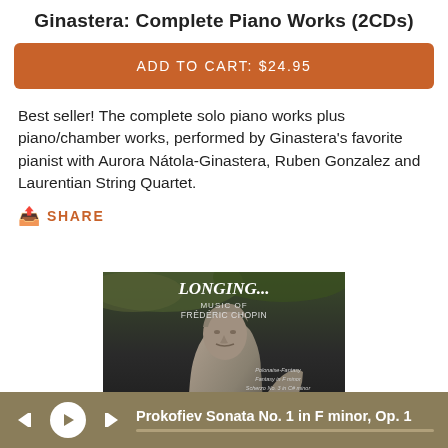Ginastera: Complete Piano Works (2CDs)
ADD TO CART: $24.95
Best seller! The complete solo piano works plus piano/chamber works, performed by Ginastera's favorite pianist with Aurora Nátola-Ginastera, Ruben Gonzalez and Laurentian String Quartet.
SHARE
[Figure (photo): Album cover for 'Longing... Music of Frédéric Chopin' showing a stone sculpture of Chopin's face with text listing musical works including Polonaise-Fantasy, Fantasy in F minor, Scherzo No. 3 in C# minor, Polonaise in A-flat, Fantasie-Impromptu, Three Etudes, Three Nocturnes.]
Prokofiev Sonata No. 1 in F minor, Op. 1